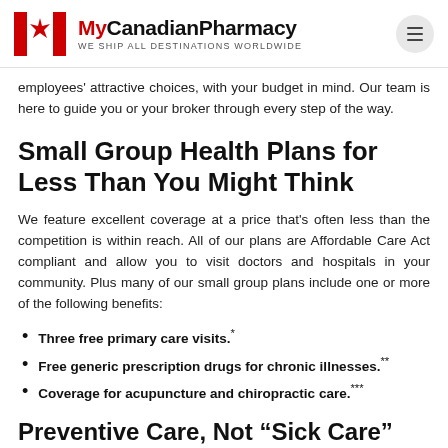MyCanadianPharmacy — WE SHIP ALL DESTINATIONS WORLDWIDE
employees' attractive choices, with your budget in mind. Our team is here to guide you or your broker through every step of the way.
Small Group Health Plans for Less Than You Might Think
We feature excellent coverage at a price that's often less than the competition is within reach. All of our plans are Affordable Care Act compliant and allow you to visit doctors and hospitals in your community. Plus many of our small group plans include one or more of the following benefits:
Three free primary care visits.*
Free generic prescription drugs for chronic illnesses.**
Coverage for acupuncture and chiropractic care.***
Preventive Care, Not "Sick Care"